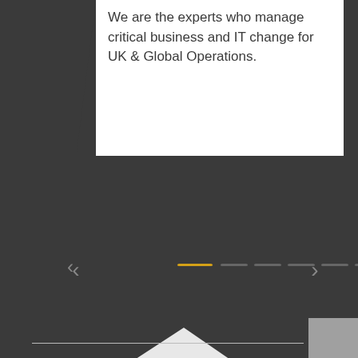We are the experts who manage critical business and IT change for UK & Global Operations.
[Figure (screenshot): Carousel navigation with one active yellow/gold dash and five inactive grey dashes, with left and right arrow controls on a dark grey background.]